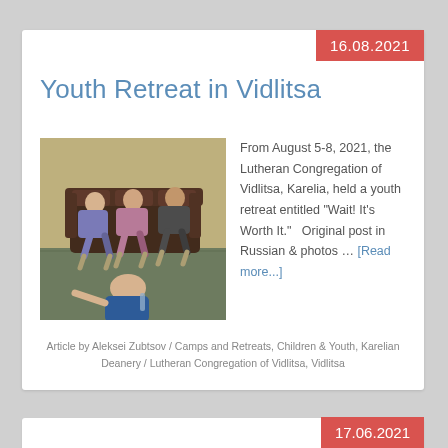16.08.2021
Youth Retreat in Vidlitsa
[Figure (photo): Group of young people sitting in a room on sofas and chairs during a youth retreat gathering]
From August 5-8, 2021, the Lutheran Congregation of Vidlitsa, Karelia, held a youth retreat entitled "Wait! It's Worth It."  Original post in Russian & photos … [Read more...]
Article by Aleksei Zubtsov / Camps and Retreats, Children & Youth, Karelian Deanery / Lutheran Congregation of Vidlitsa, Vidlitsa